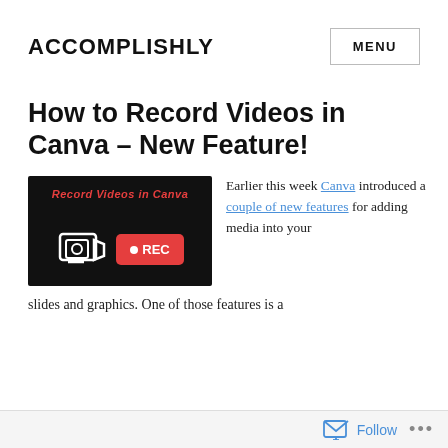ACCOMPLISHLY  MENU
How to Record Videos in Canva – New Feature!
[Figure (screenshot): Thumbnail image on black background showing 'Record Videos in Canva' text in red italic, a monitor icon with camera, and a red REC button]
Earlier this week Canva introduced a couple of new features for adding media into your slides and graphics. One of those features is a
Follow  ...